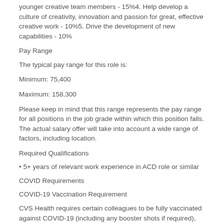younger creative team members - 15%4. Help develop a culture of creativity, innovation and passion for great, effective creative work - 10%5. Drive the development of new capabilities - 10%
Pay Range
The typical pay range for this role is:
Minimum: 75,400
Maximum: 158,300
Please keep in mind that this range represents the pay range for all positions in the job grade within which this position falls. The actual salary offer will take into account a wide range of factors, including location.
Required Qualifications
• 5+ years of relevant work experience in ACD role or similar
COVID Requirements
COVID-19 Vaccination Requirement
CVS Health requires certain colleagues to be fully vaccinated against COVID-19 (including any booster shots if required), where allowable under the law, unless they are approved for a reasonable accommodation based on disability, medical condition, religious